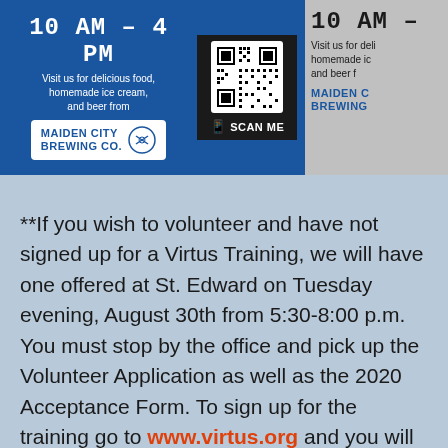[Figure (other): Event advertisement banner showing '10 AM – 4 PM' in blue background with text 'Visit us for delicious food, homemade ice cream, and beer from MAIDEN CITY BREWING CO.' alongside a QR code with 'SCAN ME' text, and a partial gray duplicate on the right.]
**If you wish to volunteer and have not signed up for a Virtus Training, we will have one offered at St. Edward on Tuesday evening, August 30th from 5:30-8:00 p.m. You must stop by the office and pick up the Volunteer Application as well as the 2020 Acceptance Form. To sign up for the training go to www.virtus.org and you will be directed to open up a Virtus Account. There you will find the Diocese of Covington drop down box. Continue to submit a background check which will cost $50